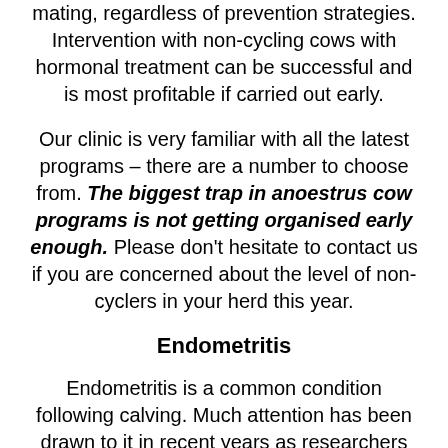mating, regardless of prevention strategies. Intervention with non-cycling cows with hormonal treatment can be successful and is most profitable if carried out early.
Our clinic is very familiar with all the latest programs – there are a number to choose from. The biggest trap in anoestrus cow programs is not getting organised early enough. Please don't hesitate to contact us if you are concerned about the level of non-cyclers in your herd this year.
Endometritis
Endometritis is a common condition following calving. Much attention has been drawn to it in recent years as researchers have fully measured impact on subsequent fertility. Endometritis is the inflammation of the inner